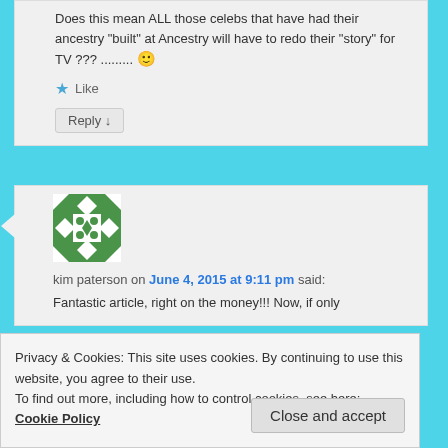Does this mean ALL those celebs that have had their ancestry "built" at Ancestry will have to redo their "story" for TV ??? ......... 🙂
★ Like
Reply ↓
[Figure (illustration): Green and white geometric quilt-pattern avatar icon for kim paterson]
kim paterson on June 4, 2015 at 9:11 pm said:
Fantastic article, right on the money!!! Now, if only
Privacy & Cookies: This site uses cookies. By continuing to use this website, you agree to their use.
To find out more, including how to control cookies, see here: Cookie Policy
Close and accept